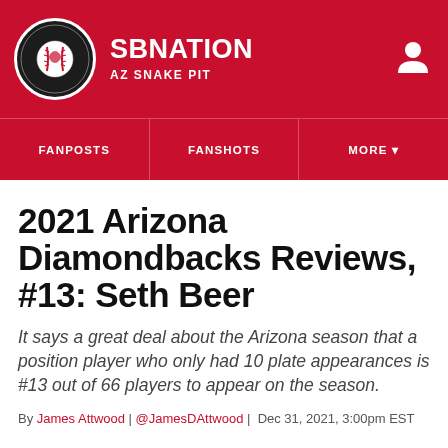SB NATION | AZ SNAKE PIT
FANPOSTS | FANSHOTS | MORE
2021 Arizona Diamondbacks Reviews, #13: Seth Beer
It says a great deal about the Arizona season that a position player who only had 10 plate appearances is #13 out of 66 players to appear on the season.
By James Attwood | @JamesDAttwood | Dec 31, 2021, 3:00pm EST